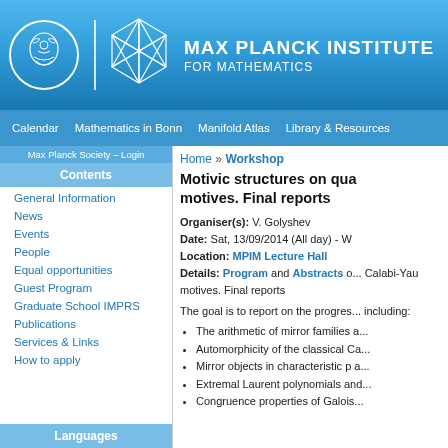[Figure (logo): Max Planck Institute for Mathematics header with circular seal, polyhedron logo, and institute name in white on blue gradient background]
MAX PLANCK INSTITUTE FOR MATHEMATICS
Calendar   Mathematics in Bonn   Manifold Atlas   Library & Resources
Contents
General Information
News
Events
People
Equal opportunities
Guest Program
Graduate School IMPRS
Publications
Services & Links
How to apply
Languages
Home » Workshop
Motivic structures on qua... motives. Final reports
Organiser(s): V. Golyshev
Date: Sat, 13/09/2014 (All day) - W...
Location: MPIM Lecture Hall
Details: Program and Abstracts o... Calabi-Yau motives. Final reports
The goal is to report on the progres... including:
The arithmetic of mirror families a...
Automorphicity of the classical Ca...
Mirror objects in characteristic p a...
Extremal Laurent polynomials and...
Congruence properties of Galois...